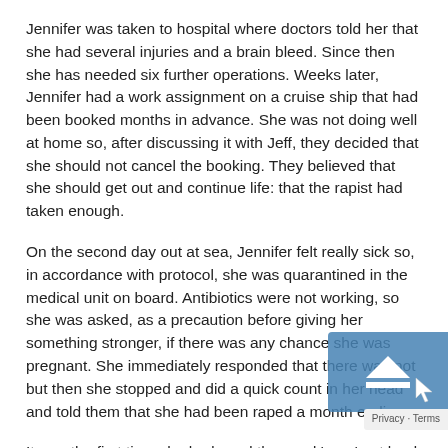Jennifer was taken to hospital where doctors told her that she had several injuries and a brain bleed. Since then she has needed six further operations. Weeks later, Jennifer had a work assignment on a cruise ship that had been booked months in advance. She was not doing well at home so, after discussing it with Jeff, they decided that she should not cancel the booking. They believed that she should get out and continue life: that the rapist had taken enough.
On the second day out at sea, Jennifer felt really sick so, in accordance with protocol, she was quarantined in the medical unit on board. Antibiotics were not working, so she was asked, as a precaution before giving her something stronger, if there was any chance she was pregnant. She immediately responded that there was not but then she stopped and did a quick count in her head and told them that she had been raped a month earlier.
It was the first time she had used the word 'rape' out loud.